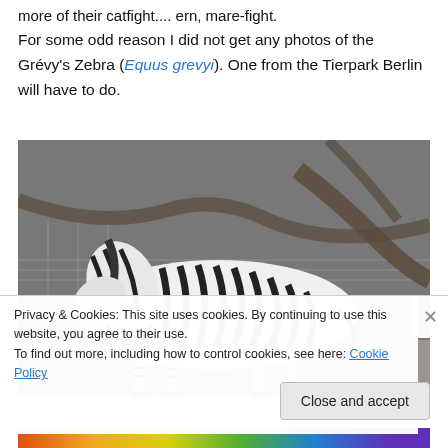more of their catfight.... ern, mare-fight.
For some odd reason I did not get any photos of the Grévy's Zebra (Equus grevyi). One from the Tierpark Berlin will have to do.
[Figure (photo): A Grévy's Zebra (Equus grevyi) standing in an enclosure at Tierpark Berlin, showing its distinctive narrow black and white stripes. A wire fence and fallen logs are visible in the background.]
Privacy & Cookies: This site uses cookies. By continuing to use this website, you agree to their use.
To find out more, including how to control cookies, see here: Cookie Policy